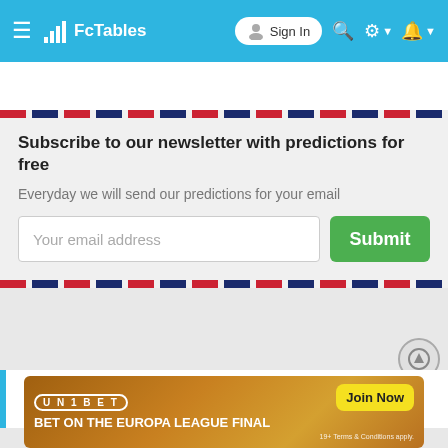FcTables Sign In
Subscribe to our newsletter with predictions for free
Everyday we will send our predictions for your email
Your email address
Submit
Teams form index
[Figure (photo): Unibet advertisement banner: BET ON THE EUROPA LEAGUE FINAL with Join Now button. 19+ Terms & Conditions apply.]